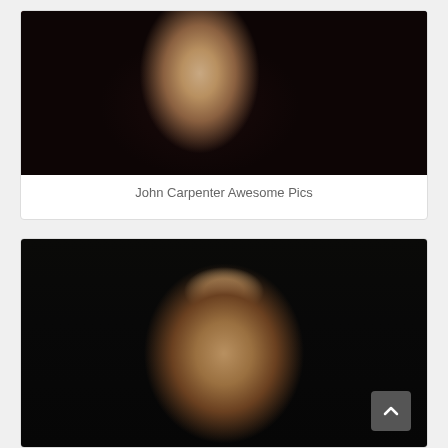[Figure (photo): Older white-haired man wearing a dark shirt, seated in a TV studio setting with dark red/blue background panels]
John Carpenter Awesome Pics
[Figure (photo): Close-up of an older white-haired man against a very dark background, partially cut off at the bottom of the page]